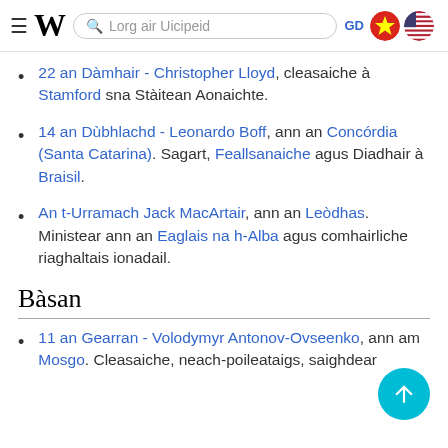≡ W  Lorg air Uicipeid  GD 🇻🇳 🇺🇸
22 an Dàmhair - Christopher Lloyd, cleasaiche à Stamford sna Stàitean Aonaichte.
14 an Dùbhlachd - Leonardo Boff, ann an Concórdia (Santa Catarina). Sagart, Feallsanaiche agus Diadhair à Braisil.
An t-Urramach Jack MacArtair, ann an Leòdhas. Ministear ann an Eaglais na h-Alba agus comhairliche riaghaltais ionadail.
Bàsan
11 an Gearran - Volodymyr Antonov-Ovseenko, ann am Mosgo. Cleasaiche, neach-poileataigs, saighdear